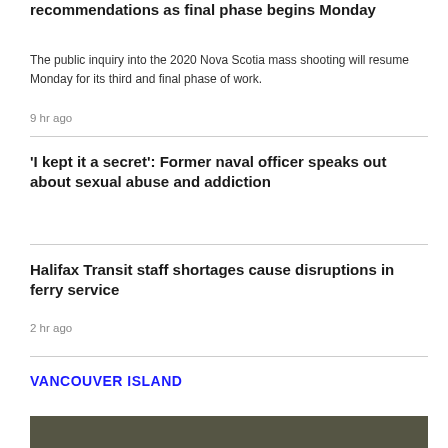recommendations as final phase begins Monday
The public inquiry into the 2020 Nova Scotia mass shooting will resume Monday for its third and final phase of work.
9 hr ago
'I kept it a secret': Former naval officer speaks out about sexual abuse and addiction
Halifax Transit staff shortages cause disruptions in ferry service
2 hr ago
VANCOUVER ISLAND
[Figure (photo): Partial photo strip at bottom of page]